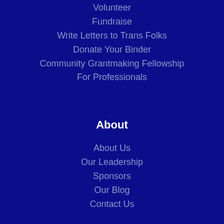Volunteer
Fundraise
Write Letters to Trans Folks
Donate Your Binder
Community Grantmaking Fellowship
For Professionals
About
About Us
Our Leadership
Sponsors
Our Blog
Contact Us